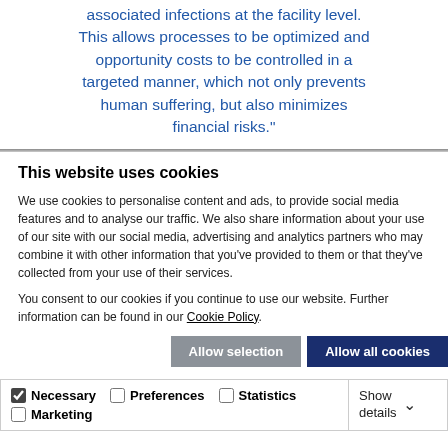associated infections at the facility level. This allows processes to be optimized and opportunity costs to be controlled in a targeted manner, which not only prevents human suffering, but also minimizes financial risks."
This website uses cookies
We use cookies to personalise content and ads, to provide social media features and to analyse our traffic. We also share information about your use of our site with our social media, advertising and analytics partners who may combine it with other information that you've provided to them or that they've collected from your use of their services.
You consent to our cookies if you continue to use our website. Further information can be found in our Cookie Policy.
Allow selection | Allow all cookies
Necessary | Preferences | Statistics | Marketing | Show details